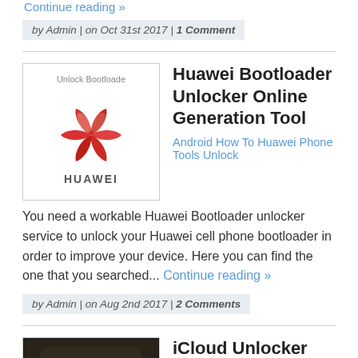Continue reading »
by Admin | on Oct 31st 2017 | 1 Comment
Huawei Bootloader Unlocker Online Generation Tool
[Figure (logo): Huawei logo with text 'Unlock Bootloader' and 'HUAWEI']
Android How To Huawei Phone Tools Unlock You need a workable Huawei Bootloader unlocker service to unlock your Huawei cell phone bootloader in order to improve your device. Here you can find the one that you searched... Continue reading »
by Admin | on Aug 2nd 2017 | 2 Comments
iCloud Unlocker Service Unlock iCloud On Any iPhone Device
[Figure (screenshot): iCloud app icon on iPhone screen]
Apple How To iOS iPhone News Phone Tools Unlock iCloud Unlocker service is available only for